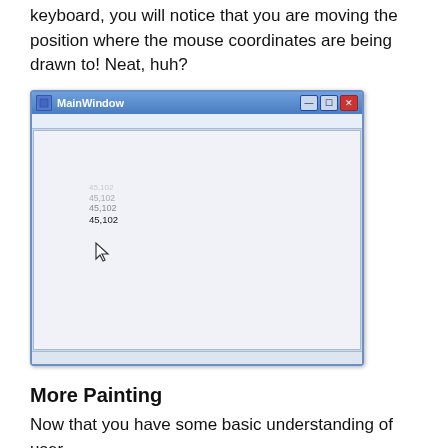keyboard, you will notice that you are moving the position where the mouse coordinates are being drawn to! Neat, huh?
[Figure (screenshot): A Windows application window titled 'MainWindow' showing a white drawing area with faded coordinate text '45,102' repeated several times near the top-left, and a mouse cursor arrow below that area.]
More Painting
Now that you have some basic understanding of user